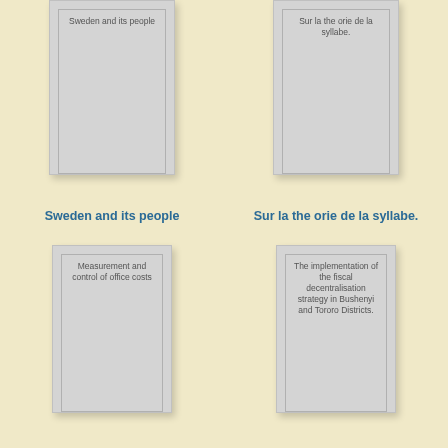[Figure (illustration): Book cover thumbnail card with gray background and inner border, labeled 'Sweden and its people']
[Figure (illustration): Book cover thumbnail card with gray background and inner border, labeled 'Sur la the orie de la syllabe.']
Sweden and its people
Sur la the orie de la syllabe.
[Figure (illustration): Book cover thumbnail card with gray background and inner border, labeled 'Measurement and control of office costs']
[Figure (illustration): Book cover thumbnail card with gray background and inner border, labeled 'The implementation of the fiscal decentralisation strategy in Bushenyi and Tororo Districts.']